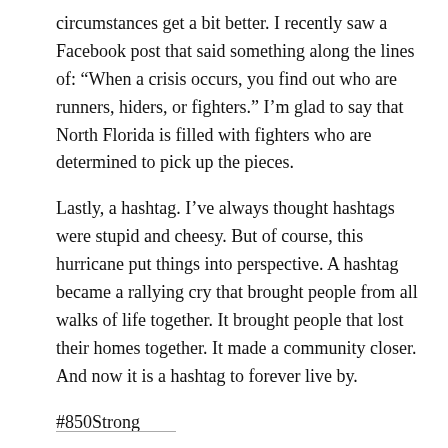circumstances get a bit better. I recently saw a Facebook post that said something along the lines of: “When a crisis occurs, you find out who are runners, hiders, or fighters.”  I’m glad to say that North Florida is filled with fighters who are determined to pick up the pieces.
Lastly, a hashtag.  I’ve always thought hashtags were stupid and cheesy. But of course, this hurricane put things into perspective.  A hashtag became a rallying cry that brought people from all walks of life together. It brought people that lost their homes together. It made a community closer.  And now it is a hashtag to forever live by.
#850Strong